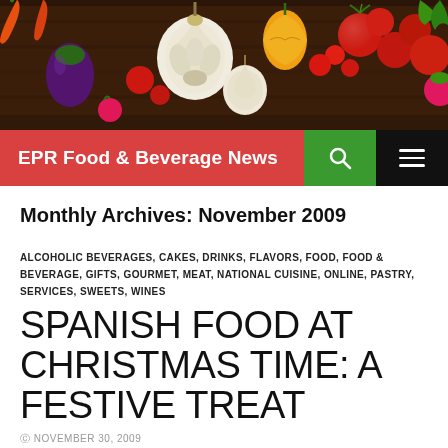[Figure (photo): Colorful vegetables and garlic on a dark wooden cutting board, including tomatoes, peppers, carrots, eggplant, and garlic bulbs.]
EPR Food & Beverage News
Monthly Archives: November 2009
ALCOHOLIC BEVERAGES, CAKES, DRINKS, FLAVORS, FOOD, FOOD & BEVERAGE, GIFTS, GOURMET, MEAT, NATIONAL CUISINE, ONLINE, PASTRY, SERVICES, SWEETS, WINES
SPANISH FOOD AT CHRISTMAS TIME: A FESTIVE TREAT
NOVEMBER 30, 2009